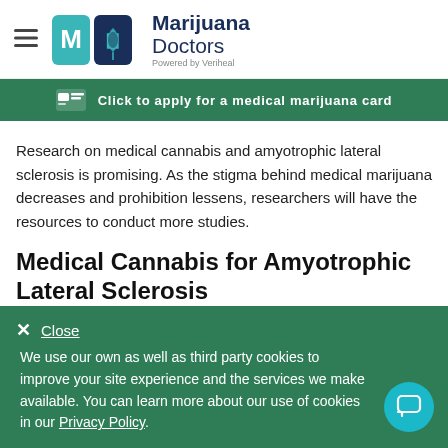Marijuana Doctors — Powered by Veriheal
Click to apply for a medical marijuana card
Research on medical cannabis and amyotrophic lateral sclerosis is promising. As the stigma behind medical marijuana decreases and prohibition lessens, researchers will have the resources to conduct more studies.
Medical Cannabis for Amyotrophic Lateral Sclerosis
We use our own as well as third party cookies to improve your site experience and the services we make available. You can learn more about our use of cookies in our Privacy Policy.